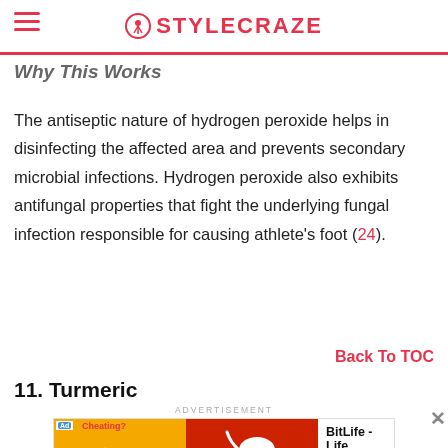STYLECRAZE
Why This Works
The antiseptic nature of hydrogen peroxide helps in disinfecting the affected area and prevents secondary microbial infections. Hydrogen peroxide also exhibits antifungal properties that fight the underlying fungal infection responsible for causing athlete’s foot (24).
Back To TOC
11. Turmeric
[Figure (screenshot): Advertisement banner for BitLife - Life Simulator app showing an arm emoji and sperm emoji graphic, with Install! button]